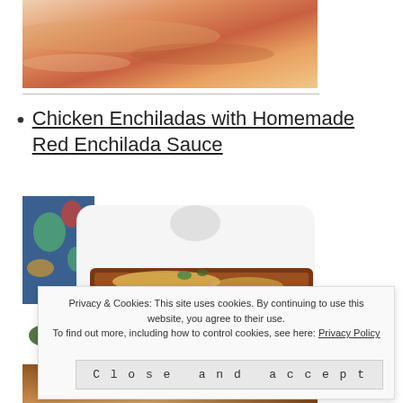[Figure (photo): Close-up photo of cooked salmon or chicken with reddish-orange color on a white plate]
Chicken Enchiladas with Homemade Red Enchilada Sauce
[Figure (photo): White baking dish with chicken enchiladas covered in melted cheese and red enchilada sauce, garnished with herbs, on a colorful floral surface]
Privacy & Cookies: This site uses cookies. By continuing to use this website, you agree to their use. To find out more, including how to control cookies, see here: Privacy Policy
[Figure (photo): Partial view of enchiladas dish, bottom of page]